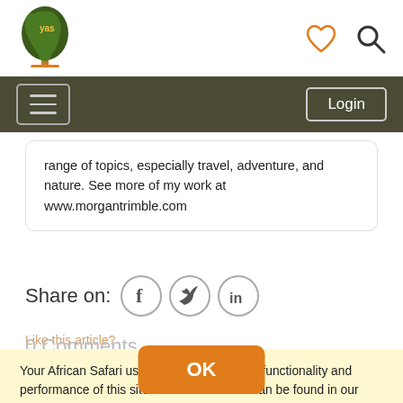[Figure (logo): Your African Safari logo - stylized Africa map with tree on orange base]
[Figure (other): Heart/wishlist icon in orange and search magnifier icon in dark gray]
[Figure (other): Navigation bar with hamburger menu button and Login button]
range of topics, especially travel, adventure, and nature. See more of my work at www.morgantrimble.com
Share on:
[Figure (other): Facebook, Twitter, LinkedIn social share icons]
Your African Safari uses cookies to improve functionality and performance of this site. More information can be found in our privacy policy.
By continuing to browse this site, you consent to the use of cookies.
0 Comments